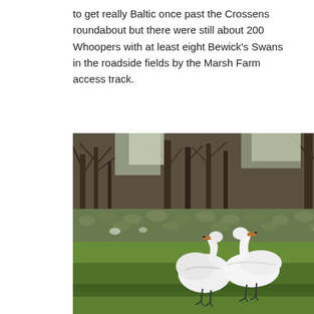to get really Baltic once past the Crossens roundabout but there were still about 200 Whoopers with at least eight Bewick's Swans in the roadside fields by the Marsh Farm access track.
[Figure (photo): Two white swans standing in a green field with bare trees and a field of mixed vegetation in the background. The image shows a rural countryside scene.]